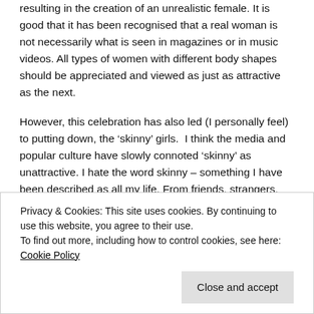resulting in the creation of an unrealistic female. It is good that it has been recognised that a real woman is not necessarily what is seen in magazines or in music videos. All types of women with different body shapes should be appreciated and viewed as just as attractive as the next.
However, this celebration has also led (I personally feel) to putting down, the ‘skinny’ girls. I think the media and popular culture have slowly connoted ‘skinny’ as unattractive. I hate the word skinny – something I have been described as all my life. From friends, strangers, anyone who has an opinion really, that word has always been thrown at me.
Privacy & Cookies: This site uses cookies. By continuing to use this website, you agree to their use. To find out more, including how to control cookies, see here: Cookie Policy